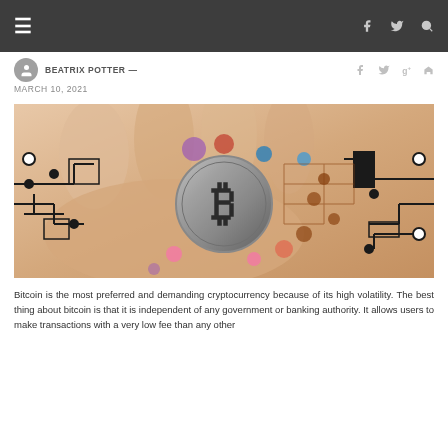≡  [navigation bar with social icons: facebook, twitter, search]
BEATRIX POTTER —  MARCH 10, 2021
[Figure (photo): Hand holding a Bitcoin coin surrounded by digital circuit board network graphics overlay]
Bitcoin is the most preferred and demanding cryptocurrency because of its high volatility. The best thing about bitcoin is that it is independent of any government or banking authority. It allows users to make transactions with a very low fee than any other